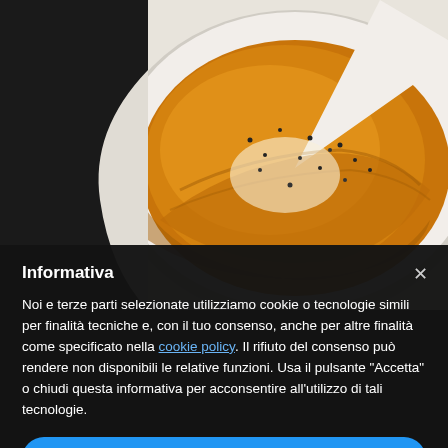[Figure (photo): A photo of a partially eaten Spanish omelette (tortilla) on a white plate, dusted with black pepper, photographed from above on a light background.]
Informativa
Noi e terze parti selezionate utilizziamo cookie o tecnologie simili per finalità tecniche e, con il tuo consenso, anche per altre finalità come specificato nella cookie policy. Il rifiuto del consenso può rendere non disponibili le relative funzioni. Usa il pulsante "Accetta" o chiudi questa informativa per acconsentire all'utilizzo di tali tecnologie.
Accetta
Scopri di più e personalizza